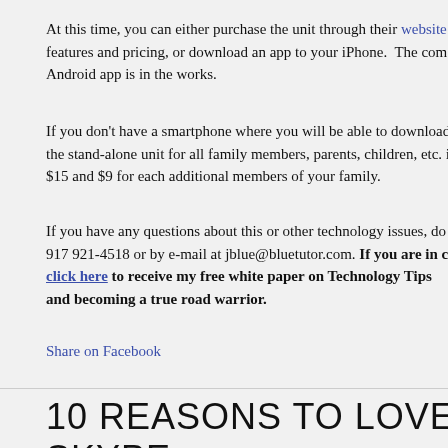At this time, you can either purchase the unit through their website features and pricing, or download an app to your iPhone. The com Android app is in the works.
If you don’t have a smartphone where you will be able to download the stand-alone unit for all family members, parents, children, etc. is $15 and $9 for each additional members of your family.
If you have any questions about this or other technology issues, do 917 921-4518 or by e-mail at jblue@bluetutor.com. If you are in ca click here to receive my free white paper on Technology Tips and becoming a true road warrior.
Share on Facebook
10 REASONS TO LOVE SKYPE
Posted by ADMIN in BLOG POSTS
One of the most important contributions of the Internet has been th